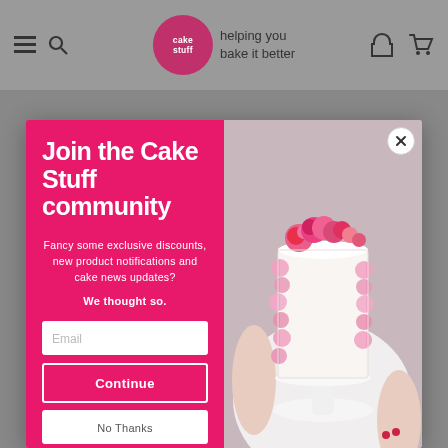cake stuff — helping you bake it better
Join the Cake Stuff community
Fancy some exclusive discounts, new product notifications and cake news updates?
We thought so.
[Figure (photo): Photo of a white frosted layered cake decorated with pink flowers on a white cake stand, held by a person wearing a white top with red nail polish]
Number 275974 VAT no. 328 6538 33